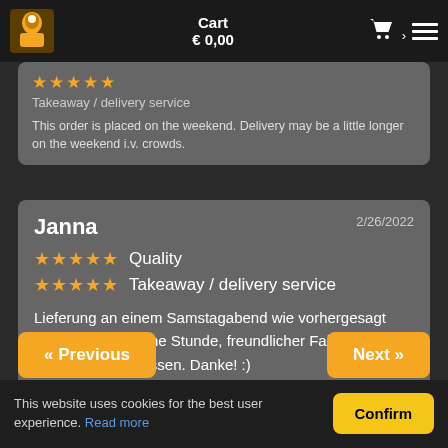Cart € 0,00
This order is placed on the weekend. Delivery may be a little longer on the weekend i.v. crowds.
Janna   2/26/2022
★★★★★ Quality
★★★★★ Takeaway / delivery service
Lieferung an einem Samstagabend wie vorhergesagt ziemlich genau eine Stunde, freundlicher Fahrer und wie immer leckeres Essen. Danke! :)
« Previous
Next »
This website uses cookies for the best user experience. Read more
Confirm